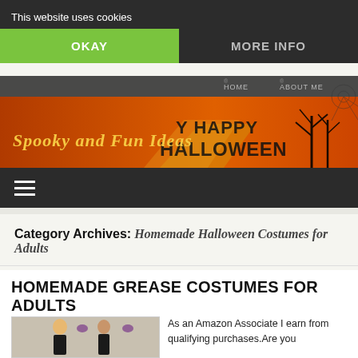This website uses cookies | OKAY | MORE INFO
[Figure (illustration): Halloween-themed website header banner with orange background, spider webs, black tree silhouettes, and site title 'Spooky and Fun Ideas'. Navigation links 'HOME' and 'ABOUT ME' visible at top. 'HAPPY HALLOWEEN' text visible.]
Category Archives: Homemade Halloween Costumes for Adults
HOMEMADE GREASE COSTUMES FOR ADULTS
[Figure (photo): Two people in Grease-themed Halloween costumes — a woman with blonde curly hair in a black dress and a man in a black outfit, with small logo badges visible.]
As an Amazon Associate I earn from qualifying purchases.Are you